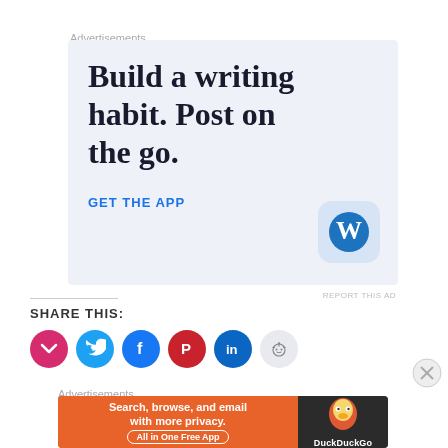Advertisements
[Figure (infographic): WordPress ad: 'Build a writing habit. Post on the go.' with GET THE APP CTA and WordPress logo on light blue background]
REPORT THIS AD
SHARE THIS:
[Figure (infographic): Row of social share icon circles: Pocket (red), Twitter (blue), Facebook (dark blue), Pinterest (red), LinkedIn (dark blue), Reddit (light blue/grey)]
Advertisements
[Figure (infographic): DuckDuckGo ad: 'Search, browse, and email with more privacy. All in One Free App' on orange background with DuckDuckGo duck logo on dark background]